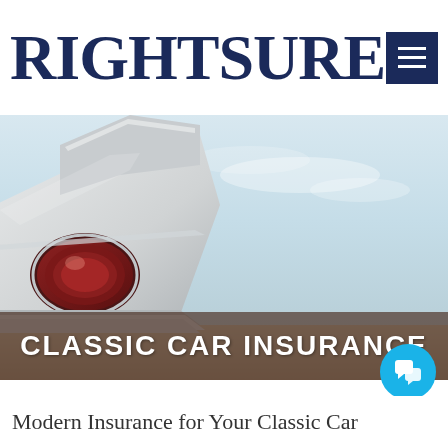RightSure
[Figure (photo): Classic car rear taillight and fin detail against a light blue sky background]
CLASSIC CAR INSURANCE
Modern Insurance for Your Classic Car